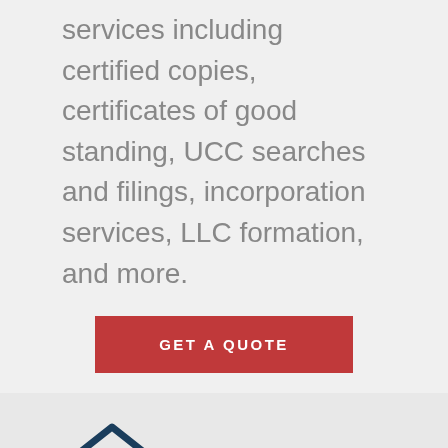services including certified copies, certificates of good standing, UCC searches and filings, incorporation services, LLC formation, and more.
GET A QUOTE
[Figure (illustration): Open envelope icon with dark navy blue outline]
Independent Director Services
Our independent directors can be put